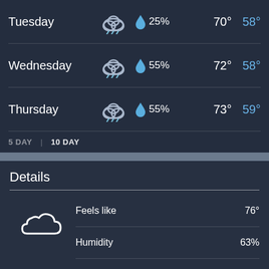| Day | Icon | Precipitation | High | Low |
| --- | --- | --- | --- | --- |
| Tuesday | rain cloud | 25% | 70° | 58° |
| Wednesday | rain cloud | 55% | 72° | 58° |
| Thursday | rain cloud | 55% | 73° | 59° |
5 DAY  |  10 DAY
Details
| Detail | Value |
| --- | --- |
| Feels like | 76° |
| Humidity | 63% |
| Visibility | 10.00 miles |
| UV Index | 2 (Low) |
Tonight - Cloudy. Winds variable. The overnight low will be 58 °F (14.4 °C).
Today - Cloudy with a high of 74 °F (23.3 °C). Winds variable.